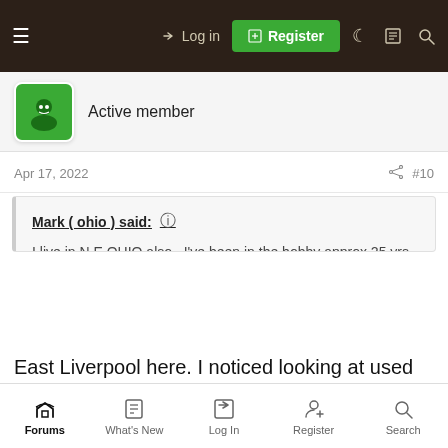≡  Log in  Register
Active member
Apr 17, 2022  #10
Mark ( ohio ) said:
I live in N E OHIO also.. I've been in the hobby approx 25 yrs now. Even when I started I use to hunt 4-5 times a week and rarely seen anyone out hunting the same areas as myself. Now, alot of great spots are now off limits to hunting. I was an early founding member of our detecting club and by now the guys I've hunted with are OLD and possibly passed on. Myself, I try to hunt a couple of times a month now, it's a big deal to find... Click to expand...
East Liverpool here. I noticed looking at used detectors online,
some parts of the country have almost 0 for sale, other areas, they
Forums  What's New  Log In  Register  Search